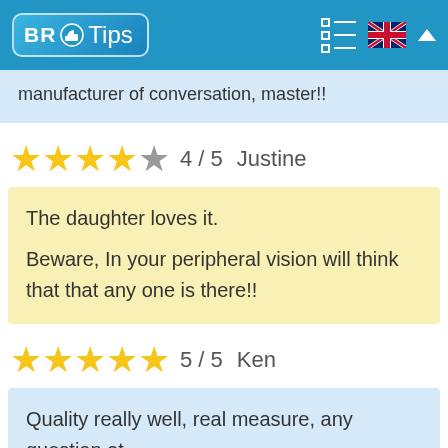BR Tips
manufacturer of conversation, master!!
★★★★☆ 4 / 5   Justine
The daughter loves it.
Beware, In your peripheral vision will think that that any one is there!!
★★★★★ 5 / 5   Ken
Quality really well, real measure, any question at